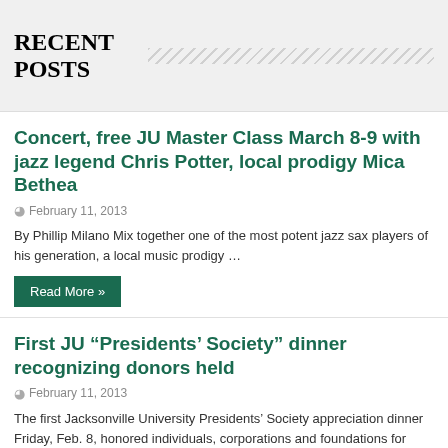RECENT POSTS
Concert, free JU Master Class March 8-9 with jazz legend Chris Potter, local prodigy Mica Bethea
February 11, 2013
By Phillip Milano Mix together one of the most potent jazz sax players of his generation, a local music prodigy …
Read More »
First JU “Presidents’ Society” dinner recognizing donors held
February 11, 2013
The first Jacksonville University Presidents’ Society appreciation dinner Friday, Feb. 8, honored individuals, corporations and foundations for their generous contributions …
Read More »